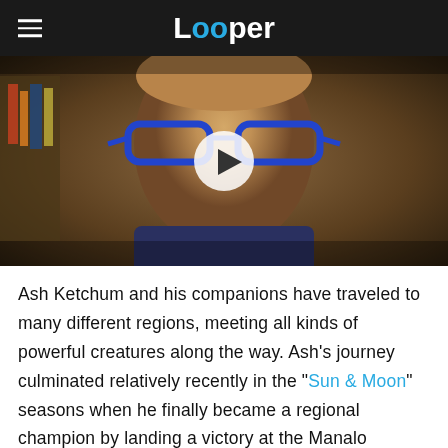Looper
[Figure (photo): Video thumbnail showing a man with blue-framed glasses with a play button overlay, set in a warm-toned background. The image is a video player screenshot from Looper.]
Ash Ketchum and his companions have traveled to many different regions, meeting all kinds of powerful creatures along the way. Ash's journey culminated relatively recently in the "Sun & Moon" seasons when he finally became a regional champion by landing a victory at the Manalo